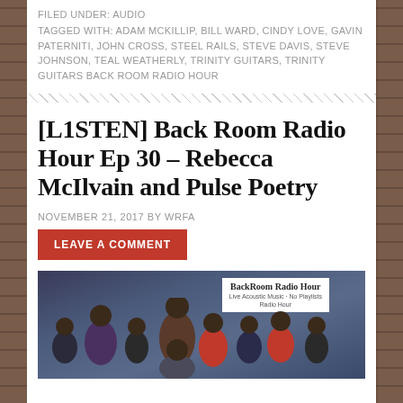FILED UNDER: AUDIO
TAGGED WITH: ADAM MCKILLIP, BILL WARD, CINDY LOVE, GAVIN PATERNITI, JOHN CROSS, STEEL RAILS, STEVE DAVIS, STEVE JOHNSON, TEAL WEATHERLY, TRINITY GUITARS, TRINITY GUITARS BACK ROOM RADIO HOUR
[L1STEN] Back Room Radio Hour Ep 30 – Rebecca McIlvain and Pulse Poetry
NOVEMBER 21, 2017 BY WRFA
LEAVE A COMMENT
[Figure (photo): Group photo of several people in front of a Back Room Radio Hour banner/sign]